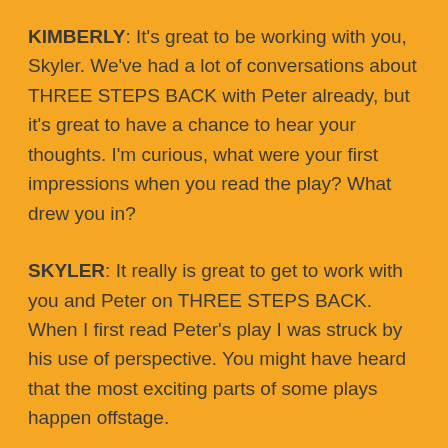KIMBERLY: It's great to be working with you, Skyler. We've had a lot of conversations about THREE STEPS BACK with Peter already, but it's great to have a chance to hear your thoughts. I'm curious, what were your first impressions when you read the play? What drew you in?
SKYLER: It really is great to get to work with you and Peter on THREE STEPS BACK. When I first read Peter's play I was struck by his use of perspective. You might have heard that the most exciting parts of some plays happen offstage.
KIMBERLY: Like in ancient Greek plays.